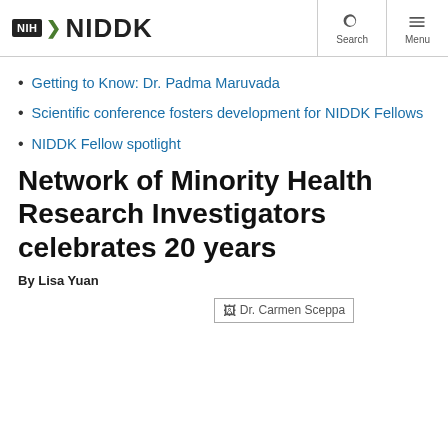NIH NIDDK | Search | Menu
Getting to Know: Dr. Padma Maruvada
Scientific conference fosters development for NIDDK Fellows
NIDDK Fellow spotlight
Network of Minority Health Research Investigators celebrates 20 years
By Lisa Yuan
[Figure (photo): Dr. Carmen Sceppa – image placeholder shown with alt text label]